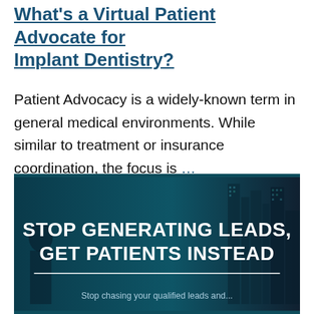What's a Virtual Patient Advocate for Implant Dentistry?
Patient Advocacy is a widely-known term in general medical environments. While similar to treatment or insurance coordination, the focus is …
[Figure (photo): Dark teal/blue banner image showing a city building in the background with bold white text overlay reading 'STOP GENERATING LEADS, GET PATIENTS INSTEAD' and a horizontal divider line, with partial text below the fold.]